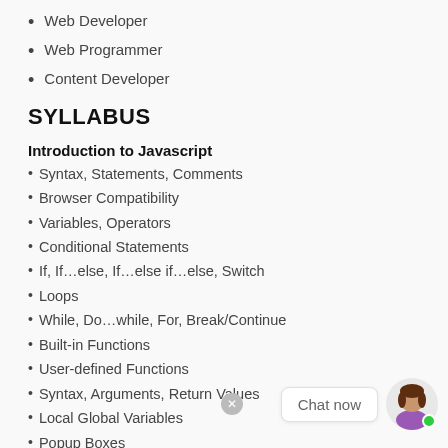Web Developer
Web Programmer
Content Developer
SYLLABUS
Introduction to Javascript
Syntax, Statements, Comments
Browser Compatibility
Variables, Operators
Conditional Statements
If, If...else, If...else if...else, Switch
Loops
While, Do...while, For, Break/Continue
Built-in Functions
User-defined Functions
Syntax, Arguments, Return Values
Local Global Variables
Popup Boxes